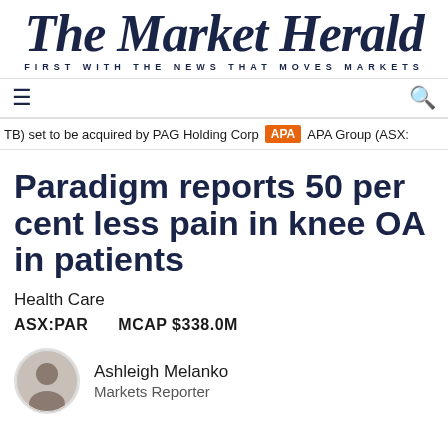The Market Herald
FIRST WITH THE NEWS THAT MOVES MARKETS
TB) set to be acquired by PAG Holding Corp  APA  APA Group (ASX:A
Paradigm reports 50 per cent less pain in knee OA in patients
Health Care
ASX:PAR   MCAP $338.0M
Ashleigh Melanko
Markets Reporter